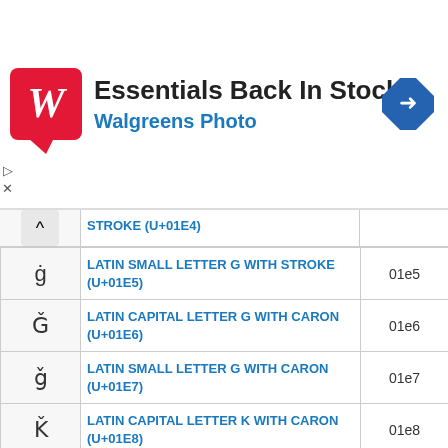[Figure (screenshot): Walgreens Photo advertisement banner: red logo with W, text 'Essentials Back In Stock' and 'Walgreens Photo', blue navigation arrow icon on right, play/close controls on left]
| Character | Name | Code |
| --- | --- | --- |
| g̀ | LATIN SMALL LETTER G WITH STROKE (U+01E5) | 01e5 |
| Ǧ | LATIN CAPITAL LETTER G WITH CARON (U+01E6) | 01e6 |
| ǧ | LATIN SMALL LETTER G WITH CARON (U+01E7) | 01e7 |
| Ǩ | LATIN CAPITAL LETTER K WITH CARON (U+01E8) | 01e8 |
| ǩ | LATIN SMALL LETTER K WITH CARON (U+01E9) | 01e9 |
| Ǫ | LATIN CAPITAL LETTER O WITH OGONEK (U+01EA) | 01ea |